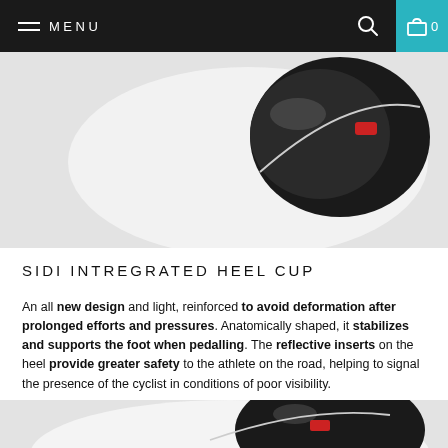MENU   0
[Figure (photo): Close-up photo of a cycling shoe heel cup with red reflective insert and black glossy surface on a light gray background]
SIDI INTREGRATED HEEL CUP
An all new design and light, reinforced to avoid deformation after prolonged efforts and pressures. Anatomically shaped, it stabilizes and supports the foot when pedalling. The reflective inserts on the heel provide greater safety to the athlete on the road, helping to signal the presence of the cyclist in conditions of poor visibility.
[Figure (photo): Close-up photo of a Sidi cycling shoe showing the heel area with red reflective inserts, black glossy heel cup, and white sock liner on a light gray background]